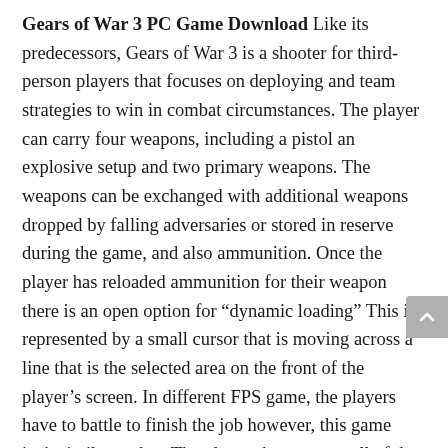Gears of War 3 PC Game Download Like its predecessors, Gears of War 3 is a shooter for third-person players that focuses on deploying and team strategies to win in combat circumstances. The player can carry four weapons, including a pistol an explosive setup and two primary weapons. The weapons can be exchanged with additional weapons dropped by falling adversaries or stored in reserve during the game, and also ammunition. Once the player has reloaded ammunition for their weapon there is an open option for “dynamic loading” This is represented by a small cursor that is moving across a line that is the selected area on the front of the player’s screen. In different FPS game, the players have to battle to finish the job however, this game isn’t similar to that. The players have to test all of the capabilities of the player in order to be able to endure. Each mission that the player has to complete are based on how to be able to survive. For instance, players may need to